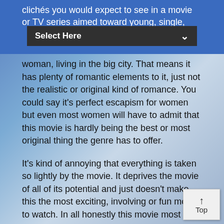clichés you would expect to see in a movie or TV series aimed toward young, single,
[Figure (screenshot): A dropdown UI element with label 'Select Here' and a chevron arrow on a dark background bar overlaid on the page]
woman, living in the big city. That means it has plenty of romantic elements to it, just not the realistic or original kind of romance. You could say it's perfect escapism for women but even most women will have to admit that this movie is hardly being the best or most original thing the genre has to offer.
It's kind of annoying that everything is taken so lightly by the movie. It deprives the movie of all of its potential and just doesn't make this the most exciting, involving or fun movie to watch. In all honestly this movie most likely would had worked out way better had it indeed been a TV-series instead. The characters and story lines would had worked out all way better that way and who knows it might had become an hit, which is